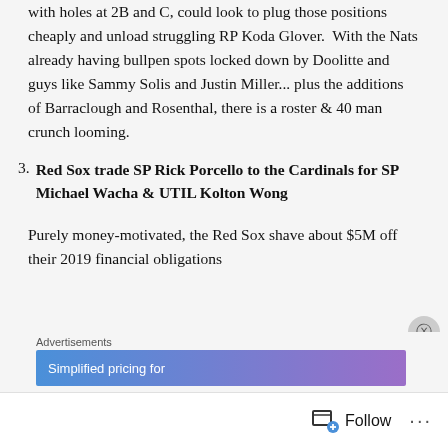with holes at 2B and C, could look to plug those positions cheaply and unload struggling RP Koda Glover.  With the Nats already having bullpen spots locked down by Doolitte and guys like Sammy Solis and Justin Miller... plus the additions of Barraclough and Rosenthal, there is a roster & 40 man crunch looming.
3. Red Sox trade SP Rick Porcello to the Cardinals for SP Michael Wacha & UTIL Kolton Wong
Purely money-motivated, the Red Sox shave about $5M off their 2019 financial obligations